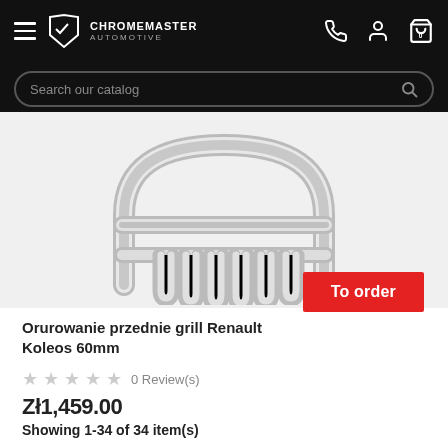CHROMEMASTER AUTOMOTIVE
Search our catalog
[Figure (photo): Chrome bull bar / front grill guard for Renault Koleos, 60mm diameter, stainless steel, shown against white/grey background]
To order
Orurowanie przednie grill Renault Koleos 60mm
0 Review(s)
Zł1,459.00
Showing 1-34 of 34 item(s)